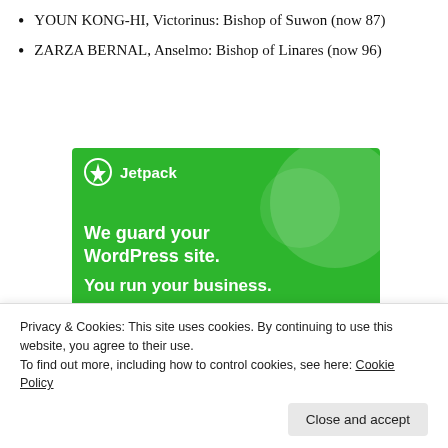YOUN KONG-HI, Victorinus: Bishop of Suwon (now 87)
ZARZA BERNAL, Anselmo: Bishop of Linares (now 96)
[Figure (screenshot): Jetpack advertisement banner with green background showing 'We guard your WordPress site. You run your business.' text with Jetpack logo and decorative circles.]
Privacy & Cookies: This site uses cookies. By continuing to use this website, you agree to their use.
To find out more, including how to control cookies, see here: Cookie Policy
Close and accept